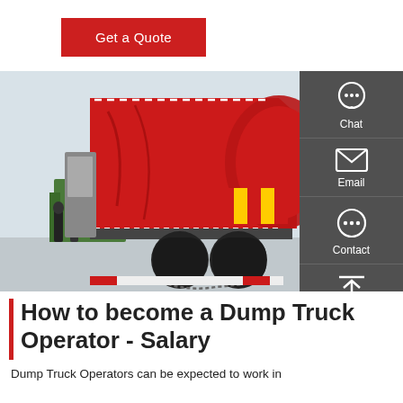Get a Quote
[Figure (photo): Red dump truck viewed from rear-side angle, showing large red tipper body with yellow/red reflective chevrons, dual rear axles with chains, parked at an outdoor event with other vehicles and people visible in background.]
How to become a Dump Truck Operator - Salary
Dump Truck Operators can be expected to work in